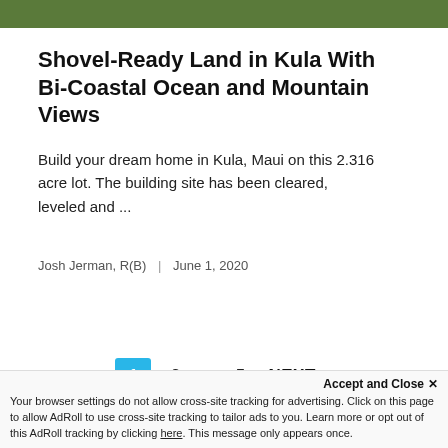[Figure (photo): Green landscape/vegetation photo strip at the top of the page]
Shovel-Ready Land in Kula With Bi-Coastal Ocean and Mountain Views
Build your dream home in Kula, Maui on this 2.316 acre lot. The building site has been cleared, leveled and ...
Josh Jerman, R(B)  |  June 1, 2020
1  2  ...  5  NEXT  >
Accept and Close ✕
Your browser settings do not allow cross-site tracking for advertising. Click on this page to allow AdRoll to use cross-site tracking to tailor ads to you. Learn more or opt out of this AdRoll tracking by clicking here. This message only appears once.